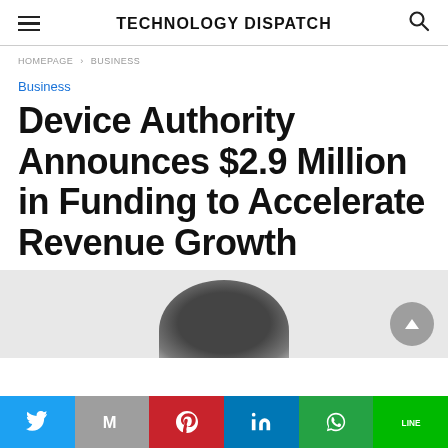TECHNOLOGY DISPATCH
HOMEPAGE > BUSINESS
Business
Device Authority Announces $2.9 Million in Funding to Accelerate Revenue Growth
[Figure (photo): Partial image of a dark rounded object visible at the bottom of the content area]
Social share bar: Twitter, Gmail, Pinterest, LinkedIn, WhatsApp, Line